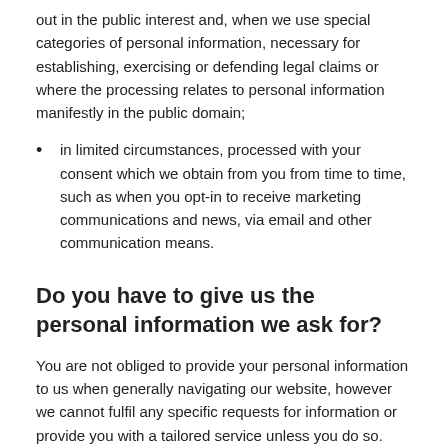out in the public interest and, when we use special categories of personal information, necessary for establishing, exercising or defending legal claims or where the processing relates to personal information manifestly in the public domain;
in limited circumstances, processed with your consent which we obtain from you from time to time, such as when you opt-in to receive marketing communications and news, via email and other communication means.
Do you have to give us the personal information we ask for?
You are not obliged to provide your personal information to us when generally navigating our website, however we cannot fulfil any specific requests for information or provide you with a tailored service unless you do so.
Do we process information about you without any human intervention at all?